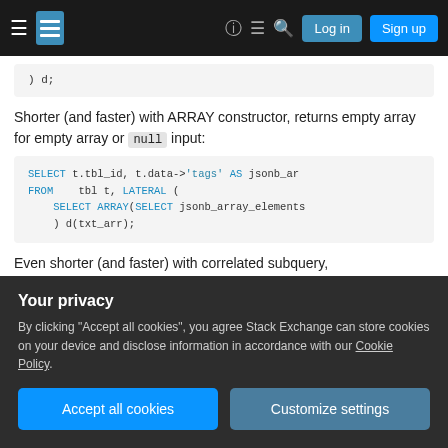Stack Exchange navigation bar with Log in and Sign up buttons
) d;
Shorter (and faster) with ARRAY constructor, returns empty array for empty array or null input:
SELECT t.tbl_id, t.data->'tags' AS jsonb_ar
FROM    tbl t, LATERAL (
    SELECT ARRAY(SELECT jsonb_array_elements
    ) d(txt_arr);
Even shorter (and faster) with correlated subquery,
Your privacy
By clicking "Accept all cookies", you agree Stack Exchange can store cookies on your device and disclose information in accordance with our Cookie Policy.
Accept all cookies
Customize settings